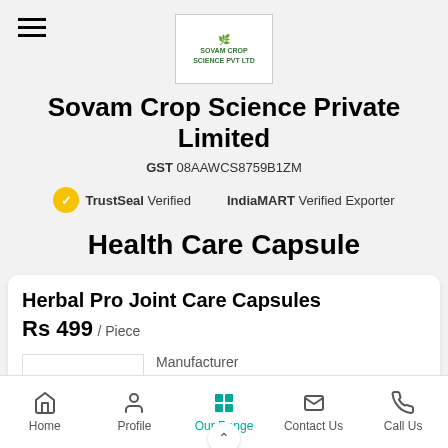[Figure (logo): Sovam Crop Science Pvt Ltd company logo, green text with plant icon in a bordered box]
Sovam Crop Science Private Limited
GST 08AAWCS8759B1ZM
TrustSeal Verified    IndiaMART Verified Exporter
Health Care Capsule
Herbal Pro Joint Care Capsules
Rs 499 / Piece
Manufacturer
sovam
Home   Profile   Our Range   Contact Us   Call Us